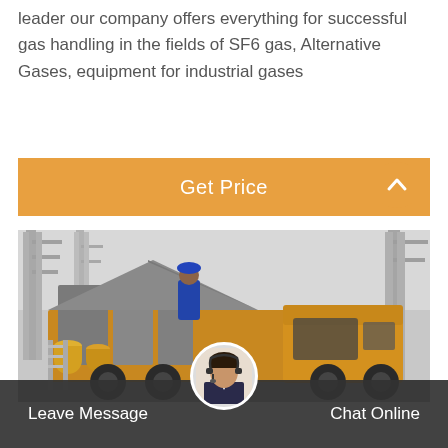leader our company offers everything for successful gas handling in the fields of SF6 gas, Alternative Gases, equipment for industrial gases
Get Price
[Figure (photo): Yellow service truck with workers operating gas handling equipment at an electrical substation with large grey towers in the background]
Leave Message
Chat Online